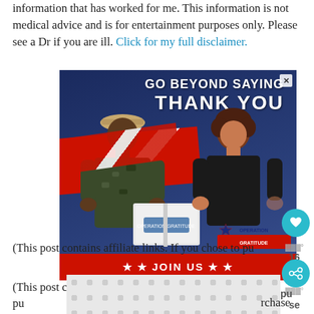information that has worked for me. This information is not medical advice and is for entertainment purposes only. Please see a Dr if you are ill. Click for my full disclaimer.
[Figure (photo): Advertisement for Operation Gratitude showing a military service member receiving a care package from a civilian volunteer. Text reads 'GO BEYOND SAYING THANK YOU' with a 'JOIN US' button at the bottom and the Operation Gratitude logo.]
(This post contains affiliate links. If you chose to purchase, I shall pay...